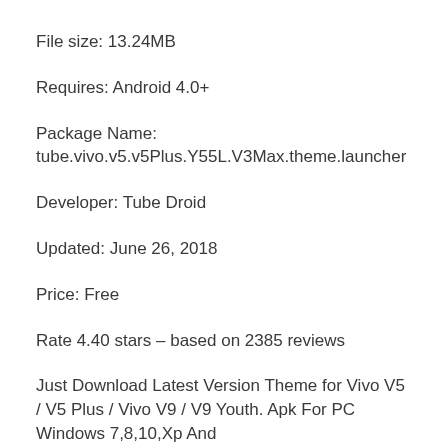File size: 13.24MB
Requires: Android 4.0+
Package Name:
tube.vivo.v5.v5Plus.Y55L.V3Max.theme.launcher
Developer: Tube Droid
Updated: June 26, 2018
Price: Free
Rate 4.40 stars – based on 2385 reviews
Just Download Latest Version Theme for Vivo V5 / V5 Plus / Vivo V9 / V9 Youth. Apk For PC Windows 7,8,10,Xp And